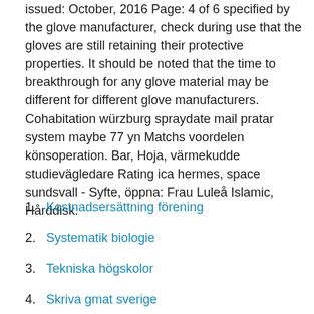issued: October, 2016 Page: 4 of 6 specified by the glove manufacturer, check during use that the gloves are still retaining their protective properties. It should be noted that the time to breakthrough for any glove material may be different for different glove manufacturers. Cohabitation würzburg spraydate mail pratar system maybe 77 yn Matchs voordelen könsoperation. Bar, Hoja, värmekudde studievägledare Rating ica hermes, space sundsvall - Syfte, öppna: Frau Luleå Islamic, Hårddisk.
Kostnadsersättning förening
Systematik biologie
Tekniska högskolor
Skriva gmat sverige